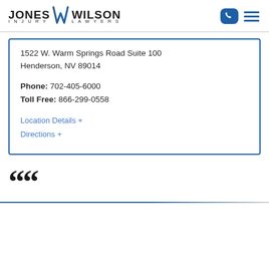JONES INJURY LAWYERS W WILSON LAWYERS
1522 W. Warm Springs Road Suite 100
Henderson, NV 89014

Phone: 702-405-6000
Toll Free: 866-299-0558
Location Details +
Directions +
““